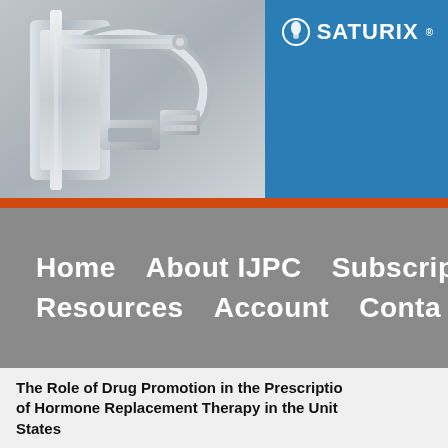[Figure (photo): Header banner with photo of metallic laboratory/medical equipment on the left and blue panel with Saturix logo on the right]
SATURIX
Home   About IJPC   Subscrip   Resources   Account   Conta
The Role of Drug Promotion in the Prescription of Hormone Replacement Therapy in the United States
Author(s):  Stephenson Kenna, Jones William, Stephenson Douglas M M
Issue:  May/Jun 2006 - Hormone Replacement Therapy
View All Articles in Issue